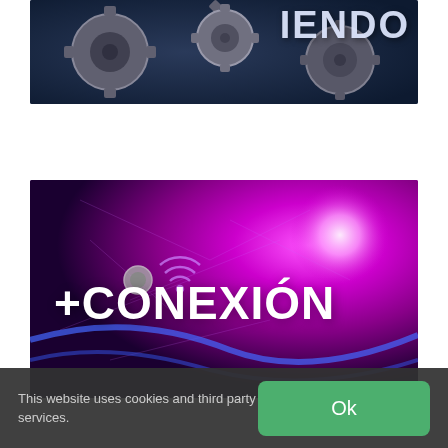[Figure (photo): Partial image of metallic gears on a dark blue background, with text 'IENDO' visible in upper right (partial word cut off at top)]
[Figure (photo): Purple and magenta glowing background with tech/connectivity motifs (WiFi symbols, lines, coins, cables, earphones). White bold text reads '+CONEXIÓN' in the center-left area.]
This website uses cookies and third party services.